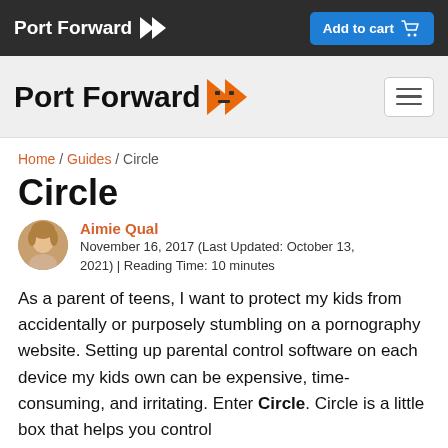Port Forward | Add to cart
[Figure (logo): Port Forward logo with orange chevron icon on dark background navigation bar]
[Figure (logo): Port Forward logo with orange chevron icon on light grey secondary navigation bar with hamburger menu button]
Home / Guides / Circle
Circle
Aimie Qual
November 16, 2017 (Last Updated: October 13, 2021) | Reading Time: 10 minutes
As a parent of teens, I want to protect my kids from accidentally or purposely stumbling on a pornography website. Setting up parental control software on each device my kids own can be expensive, time-consuming, and irritating. Enter Circle. Circle is a little box that helps you control